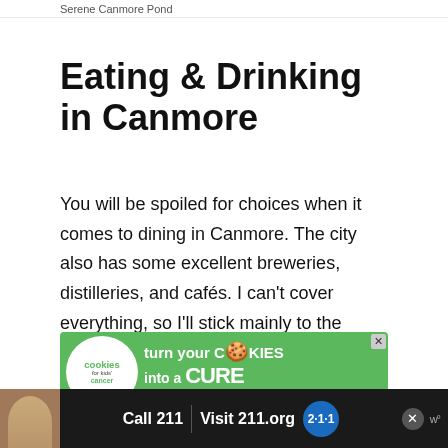Serene Canmore Pond
Eating & Drinking in Canmore
You will be spoiled for choices when it comes to dining in Canmore. The city also has some excellent breweries, distilleries, and cafés. I can't cover everything, so I'll stick mainly to the places I've personally tried.
[Figure (other): Green advertisement banner for Cookies for Kids Cancer: 'turn your COOKIES into a CURE LEARN HOW' with white circle logo on left and close button]
[Figure (other): Black bottom advertisement bar with child photo, 'Call 211 | Visit 211.org' with blue 211 badge and close/weather icons]